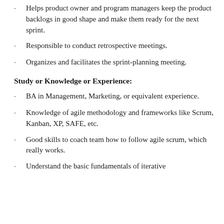Helps product owner and program managers keep the product backlogs in good shape and make them ready for the next sprint.
Responsible to conduct retrospective meetings.
Organizes and facilitates the sprint-planning meeting.
Study or Knowledge or Experience:
BA in Management, Marketing, or equivalent experience.
Knowledge of agile methodology and frameworks like Scrum, Kanban, XP, SAFE, etc.
Good skills to coach team how to follow agile scrum, which really works.
Understand the basic fundamentals of iterative